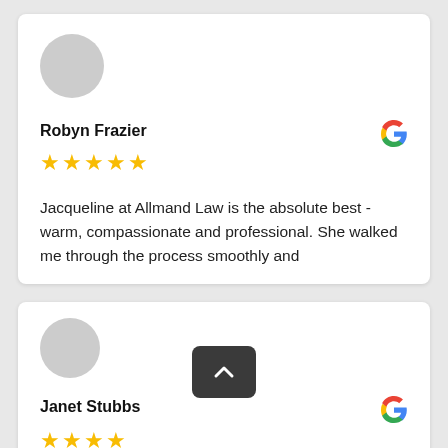[Figure (illustration): Grey circular avatar placeholder for reviewer Robyn Frazier]
Robyn Frazier
[Figure (logo): Google G logo in multicolor]
★★★★★ (5 stars)
Jacqueline at Allmand Law is the absolute best - warm, compassionate and professional. She walked me through the process smoothly and
[Figure (illustration): Grey circular avatar placeholder for reviewer Janet Stubbs]
Janet Stubbs
[Figure (logo): Google G logo in multicolor]
★★★★ (4 stars, partially obscured)
I was in dire straights and really still am, but the